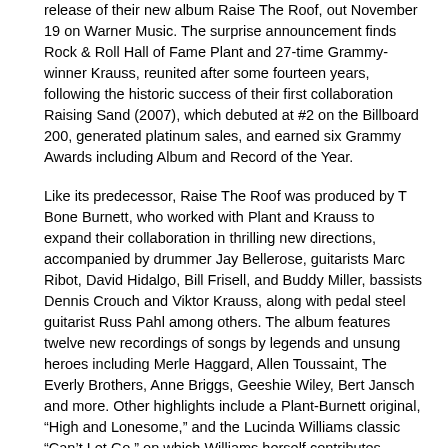release of their new album Raise The Roof, out November 19 on Warner Music. The surprise announcement finds Rock & Roll Hall of Fame Plant and 27-time Grammy-winner Krauss, reunited after some fourteen years, following the historic success of their first collaboration Raising Sand (2007), which debuted at #2 on the Billboard 200, generated platinum sales, and earned six Grammy Awards including Album and Record of the Year.
Like its predecessor, Raise The Roof was produced by T Bone Burnett, who worked with Plant and Krauss to expand their collaboration in thrilling new directions, accompanied by drummer Jay Bellerose, guitarists Marc Ribot, David Hidalgo, Bill Frisell, and Buddy Miller, bassists Dennis Crouch and Viktor Krauss, along with pedal steel guitarist Russ Pahl among others. The album features twelve new recordings of songs by legends and unsung heroes including Merle Haggard, Allen Toussaint, The Everly Brothers, Anne Briggs, Geeshie Wiley, Bert Jansch and more. Other highlights include a Plant-Burnett original, “High and Lonesome,” and the Lucinda Williams classic “Can’t Let Go,” on which Williams herself contributes backing vocals.
Robert Plant and Alison Krauss have shared “Can’t Let Go” today, listen HERE
The songs selected for Raise The Roof alternately reflect deep-rooted influences and new revelations. For his part, Robert Plant was keen to